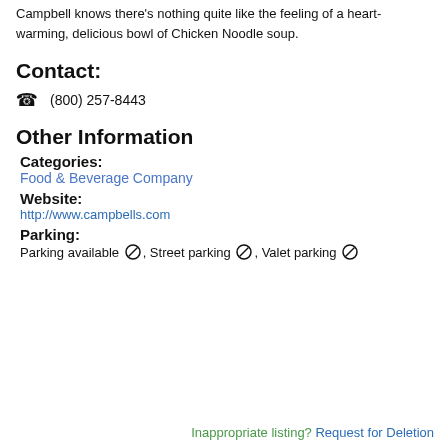Campbell knows there's nothing quite like the feeling of a heart-warming, delicious bowl of Chicken Noodle soup.
Contact:
📞 (800) 257-8443
Other Information
Categories:
Food & Beverage Company
Website:
http://www.campbells.com
Parking:
Parking available ⊘, Street parking ⊘, Valet parking ⊘
Inappropriate listing? Request for Deletion